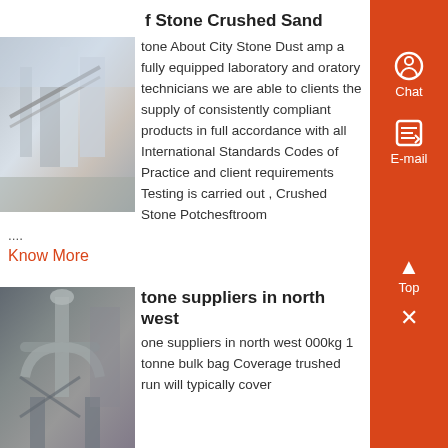f Stone Crushed Sand
[Figure (photo): Industrial stone crushing facility with equipment and structures]
tone About City Stone Dust amp a fully equipped laboratory and oratory technicians we are able to clients the supply of consistently compliant products in full accordance with all International Standards Codes of Practice and client requirements Testing is carried out , Crushed Stone Potchesftroom ....
Know More
tone suppliers in north west
[Figure (photo): Industrial dust collection or stone processing equipment with pipes and structures]
one suppliers in north west 000kg 1 tonne bulk bag Coverage trushed run will typically cover